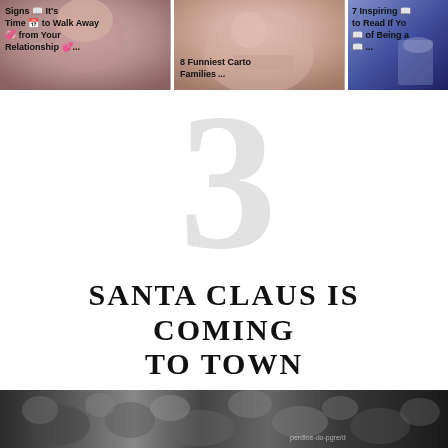[Figure (screenshot): Three thumbnail images at top: left shows 'Signs It's Time to Walk Away from Your Relationship...', middle shows '8 Funniest Cartoon Families...', right shows '7 Inspiring ... to Read If Y... of Being a... ...']
3
SANTA CLAUS IS COMING TO TOWN
[Figure (photo): Black and white crowd photo at bottom with watermark text]